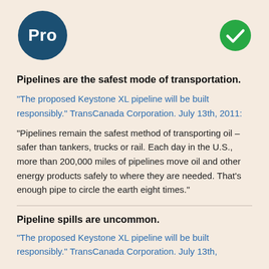[Figure (other): Dark blue circle with white bold text 'Pro' on the left, and a green checkmark circle on the right]
Pipelines are the safest mode of transportation.
"The proposed Keystone XL pipeline will be built responsibly." TransCanada Corporation. July 13th, 2011:
“Pipelines remain the safest method of transporting oil – safer than tankers, trucks or rail. Each day in the U.S., more than 200,000 miles of pipelines move oil and other energy products safely to where they are needed. That’s enough pipe to circle the earth eight times.”
Pipeline spills are uncommon.
"The proposed Keystone XL pipeline will be built responsibly." TransCanada Corporation. July 13th,